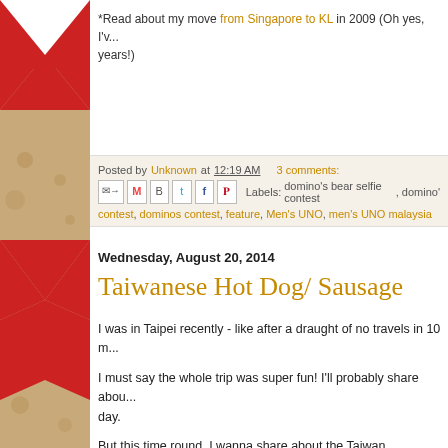*Read about my move from Singapore to KL in 2009 (Oh yes, I've been there for years!)
Posted by Unknown at 12:19 AM  3 comments:
Labels: domino's bear selfie contest, domino's contest, dominos contest, feature, Men's UNO, men's UNO malaysia
Wednesday, August 20, 2014
Taiwanese Hot Dog/ Sausage
I was in Taipei recently - like after a draught of no travels in 10 m...
I must say the whole trip was super fun! I'll probably share abou... day.
But this time round, I wanna share about the Taiwan sausage... the term "hot dog".